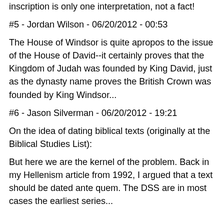inscription is only one interpretation, not a fact!
#5 - Jordan Wilson - 06/20/2012 - 00:53
The House of Windsor is quite apropos to the issue of the House of David--it certainly proves that the Kingdom of Judah was founded by King David, just as the dynasty name proves the British Crown was founded by King Windsor...
#6 - Jason Silverman - 06/20/2012 - 19:21
On the idea of dating biblical texts (originally at the Biblical Studies List):
But here we are the kernel of the problem. Back in my Hellenism article from 1992, I argued that a text should be dated ante quem. The DSS are in most cases the earliest series...